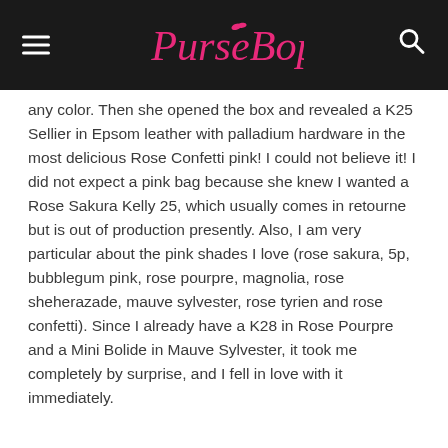PurseBop
any color. Then she opened the box and revealed a K25 Sellier in Epsom leather with palladium hardware in the most delicious Rose Confetti pink! I could not believe it! I did not expect a pink bag because she knew I wanted a Rose Sakura Kelly 25, which usually comes in retourne but is out of production presently. Also, I am very particular about the pink shades I love (rose sakura, 5p, bubblegum pink, rose pourpre, magnolia, rose sheherazade, mauve sylvester, rose tyrien and rose confetti). Since I already have a K28 in Rose Pourpre and a Mini Bolide in Mauve Sylvester, it took me completely by surprise, and I fell in love with it immediately.